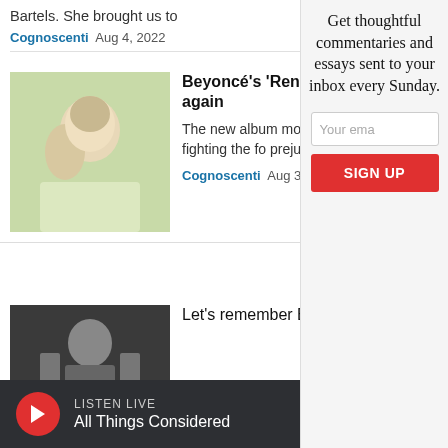Bartels. She brought us to
Cognoscenti  Aug 4, 2022
Beyoncé's 'Renaissance' is bringing us together again
The new album motivates weathering the disruptions and to keep fighting the forces of prejudice and racism, writes Young.
Cognoscenti  Aug 3, 2022
Let's remember Bill Russell as the radical he was
Get thoughtful commentaries and essays sent to your inbox every Sunday.
Your ema
SIGN UP
LISTEN LIVE
All Things Considered